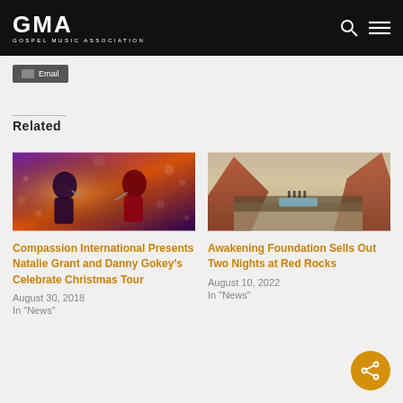GMA GOSPEL MUSIC ASSOCIATION
Email
Related
[Figure (photo): Two performers singing on stage with purple/orange lighting and bokeh background — Natalie Grant and Danny Gokey]
Compassion International Presents Natalie Grant and Danny Gokey's Celebrate Christmas Tour
August 30, 2018
In "News"
[Figure (photo): Aerial view of Red Rocks Amphitheatre filled with a large crowd, with red rock formations in background]
Awakening Foundation Sells Out Two Nights at Red Rocks
August 10, 2022
In "News"